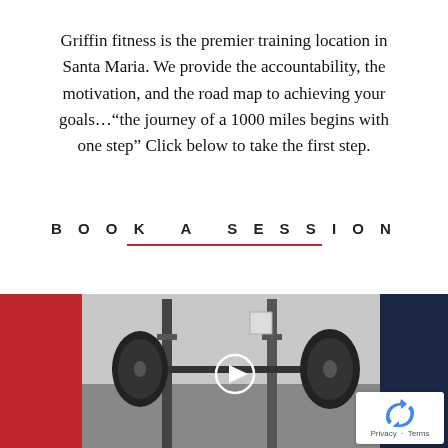Griffin fitness is the premier training location in Santa Maria. We provide the accountability, the motivation, and the road map to achieving your goals…“the journey of a 1000 miles begins with one step” Click below to take the first step.
BOOK A SESSION
[Figure (photo): Black and white photo of a gym with barbells and weight plates on a rack, with a play button overlay indicating a video. A red rectangle on the left and a dark navy rectangle on the right frame the image. A reCAPTCHA badge is visible in the bottom right corner.]